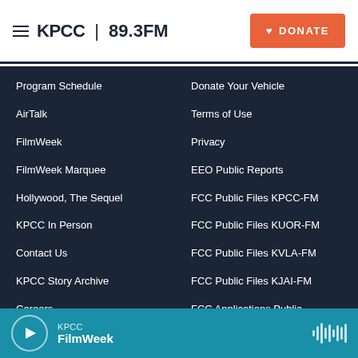KPCC 89.3FM | DONATE
Program Schedule
AirTalk
FilmWeek
FilmWeek Marquee
Hollywood, The Sequel
KPCC In Person
Contact Us
KPCC Story Archive
Careers
Donate Your Vehicle
Terms of Use
Privacy
EEO Public Reports
FCC Public Files KPCC-FM
FCC Public Files KUOR-FM
FCC Public Files KVLA-FM
FCC Public Files KJAI-FM
FCC Applications Public Notices
KPCC FilmWeek